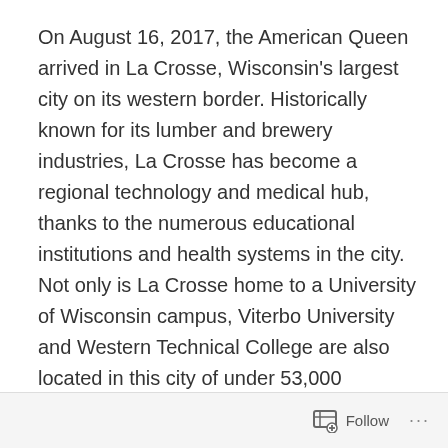On August 16, 2017, the American Queen arrived in La Crosse, Wisconsin's largest city on its western border. Historically known for its lumber and brewery industries, La Crosse has become a regional technology and medical hub, thanks to the numerous educational institutions and health systems in the city.  Not only is La Crosse home to a University of Wisconsin campus, Viterbo University and Western Technical College are also located in this city of under 53,000 people!  No wonder why La Crosse has received high rankings for education.  Gundersen and Mayo Clinic health systems are also located in La Crosse, so the city also ranks high for health, well-being, and quality of life.  That's a lot of greatness for such a relatively small city!
Follow ···